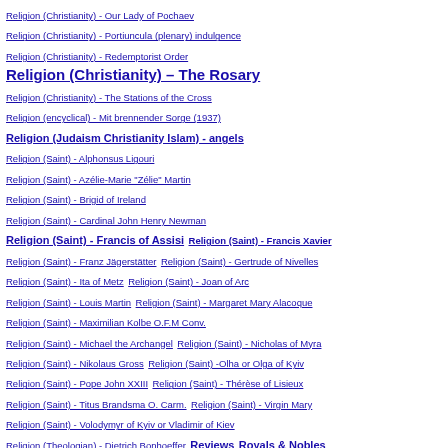Religion (Christianity) - Our Lady of Pochaev
Religion (Christianity) - Portiuncula (plenary) indulgence
Religion (Christianity) - Redemptorist Order
Religion (Christianity) - The Rosary
Religion (Christianity) - The Stations of the Cross
Religion (encyclical) - Mit brennender Sorge (1937)
Religion (Judaism Christianity Islam) - angels
Religion (Saint) - Alphonsus Ligouri
Religion (Saint) - Azélie-Marie "Zélie" Martin
Religion (Saint) - Brigid of Ireland
Religion (Saint) - Cardinal John Henry Newman
Religion (Saint) - Francis of Assisi  Religion (Saint) - Francis Xavier
Religion (Saint) - Franz Jägerstätter  Religion (Saint) - Gertrude of Nivelles
Religion (Saint) - Ita of Metz  Religion (Saint) - Joan of Arc
Religion (Saint) - Louis Martin  Religion (Saint) - Margaret Mary Alacoque
Religion (Saint) - Maximilian Kolbe O.F.M Conv.
Religion (Saint) - Michael the Archangel  Religion (Saint) - Nicholas of Myra
Religion (Saint) - Nikolaus Gross  Religion (Saint) -Olha or Olga of Kyiv
Religion (Saint) - Pope John XXIII  Religion (Saint) - Thérèse of Lisieux
Religion (Saint) - Titus Brandsma O. Carm.  Religion (Saint) - Virgin Mary
Religion (Saint) - Volodymyr of Kyiv or Vladimir of Kiev
Religion (Theologian) - Dietrich Bonhoeffer  Reviews  Royals & Nobles
Royals & Nobles - Baroness Josephine von Braun
Royals & Nobles - Baron Gottfried van Swieten
Royals & Nobles - Baron Gottfried van Swieten (1833-1803)
Royals & Nobles - Bohemian Prince Ferdinand Lobkowitz (1772-1816)
Royals & Nobles - Count Moritz Christian von Fries
Royals & Nobles - Grand Duke Alexander Pavlovich
Royals & Nobles - Henry III Holy Roman Emperor
Royals & Nobles - Joseph II Holy Roman Emperor
Royals & Nobles - King Louis XIV of France
Royals & Nobles - Landgravine Josepha of Fürstenberg-Weitra Princess of